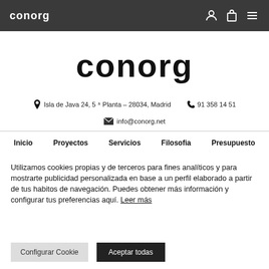conorg
[Figure (logo): conorg large bold wordmark logo]
Isla de Java 24, 5ª Planta – 28034, Madrid   91 358 14 51
info@conorg.net
Inicio   Proyectos   Servicios   Filosofia   Presupuesto
Utilizamos cookies propias y de terceros para fines analíticos y para mostrarte publicidad personalizada en base a un perfil elaborado a partir de tus habitos de navegación. Puedes obtener más información y configurar tus preferencias aquí. Leer más
Configurar Cookie   Aceptar todas